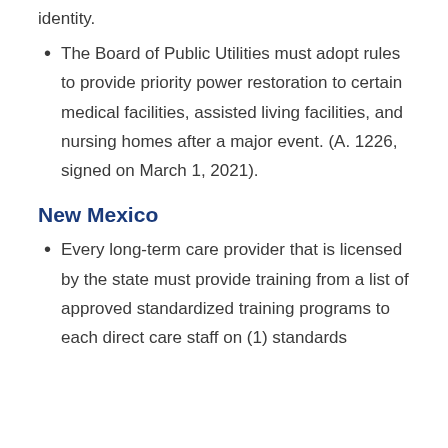identity.
The Board of Public Utilities must adopt rules to provide priority power restoration to certain medical facilities, assisted living facilities, and nursing homes after a major event. (A. 1226, signed on March 1, 2021).
New Mexico
Every long-term care provider that is licensed by the state must provide training from a list of approved standardized training programs to each direct care staff on (1) standards